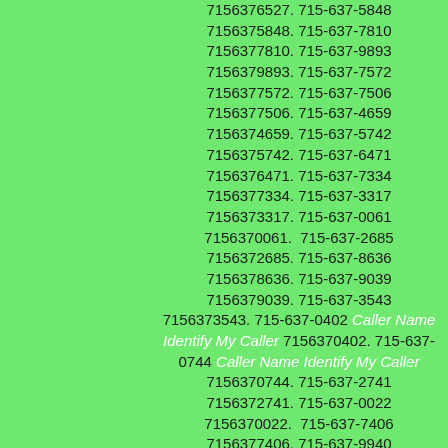7156376527. 715-637-5848 7156375848. 715-637-7810 7156377810. 715-637-9893 7156379893. 715-637-7572 7156377572. 715-637-7506 7156377506. 715-637-4659 7156374659. 715-637-5742 7156375742. 715-637-6471 7156376471. 715-637-7334 7156377334. 715-637-3317 7156373317. 715-637-0061 7156370061.  715-637-2685 7156372685. 715-637-8636 7156378636. 715-637-9039 7156379039. 715-637-3543 7156373543. 715-637-0402 Caller Name Identify My Caller 7156370402. 715-637-0744 Caller Name Identify My Caller 7156370744. 715-637-2741 7156372741. 715-637-0022 7156370022.  715-637-7406 7156377406. 715-637-9940 7156379940. 715-637-1811 7156371811. 715-637-2007 7156372007. 715-637-7009 7156377009. 715-637-3937